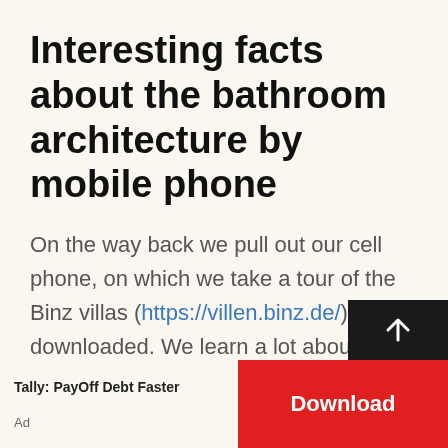Interesting facts about the bathroom architecture by mobile phone
On the way back we pull out our cell phone, on which we take a tour of the Binz villas (https://villen.binz.de/) downloaded. We learn a lot about the development of the city and the fate of its people. We follow the villa tour back to the city center. On the way we discover a gallery of clay plates surrounded by a wisteria, c
Tally: PayOff Debt Faster
Ad
Download